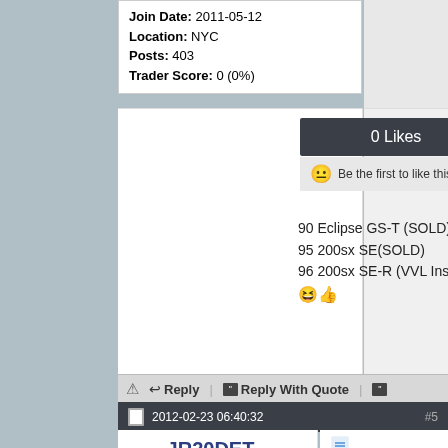Join Date: 2011-05-12
Location: NYC
Posts: 403
Trader Score: 0 (0%)
[Figure (other): 0 Likes bar with smiley face and 'Be the first to like this post.']
90 Eclipse GS-T (SOLD)
95 200sx SE(SOLD)
96 200sx SE-R (VVL Inside)
Reply | Reply With Quote
2012-02-23 06:40:32  #5
JR20DET
VVL Inside
[Figure (photo): Car (dark sedan) parked on road with trees and blue sky]
any luck????